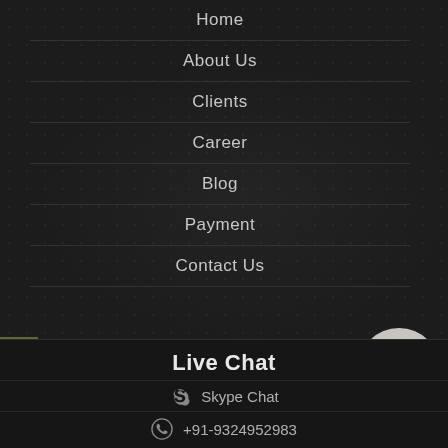Home
About Us
Clients
Career
Blog
Payment
Contact Us
live chat
[Figure (screenshot): Social media icons: Twitter (blue), LinkedIn (blue), Pinterest (red)]
[Figure (infographic): Contact panel with document icon (red), phone icon (red), WhatsApp icon (green) on grey pill-shaped background]
Live Chat
Skype Chat
+91-9324952983